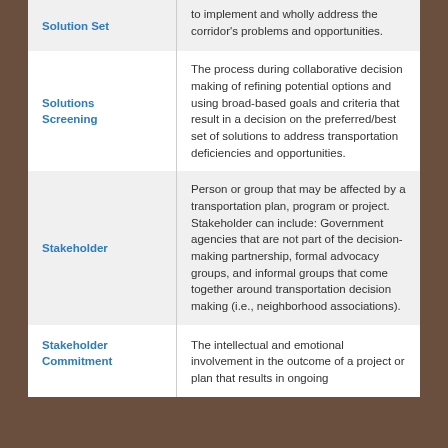| Term | Definition |
| --- | --- |
| Solution Set (partial) | to implement and wholly address the corridor's problems and opportunities. |
| Solutions Screening | The process during collaborative decision making of refining potential options and using broad-based goals and criteria that result in a decision on the preferred/best set of solutions to address transportation deficiencies and opportunities. |
| Stakeholder | Person or group that may be affected by a transportation plan, program or project. Stakeholder can include: Government agencies that are not part of the decision-making partnership, formal advocacy groups, and informal groups that come together around transportation decision making (i.e., neighborhood associations). |
| Stakeholder Commitment | The intellectual and emotional involvement in the outcome of a project or plan that results in ongoing |